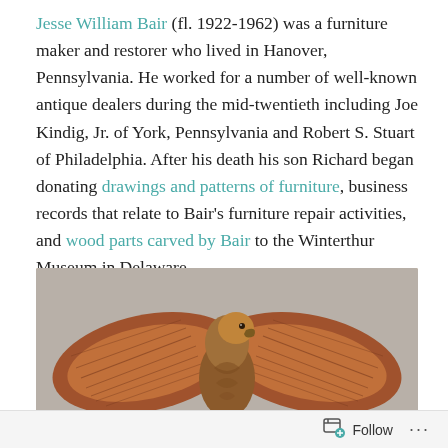Jesse William Bair (fl. 1922-1962) was a furniture maker and restorer who lived in Hanover, Pennsylvania. He worked for a number of well-known antique dealers during the mid-twentieth including Joe Kindig, Jr. of York, Pennsylvania and Robert S. Stuart of Philadelphia. After his death his son Richard began donating drawings and patterns of furniture, business records that relate to Bair's furniture repair activities, and wood parts carved by Bair to the Winterthur Museum in Delaware.
[Figure (photo): Photograph of three wooden carved pieces on a gray background: two decorative wing shapes on either side and a carved eagle head/body in the center, all in warm reddish-brown wood tones.]
Follow ···